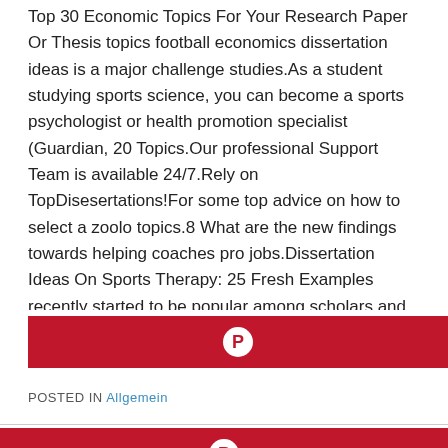Top 30 Economic Topics For Your Research Paper Or Thesis topics football economics dissertation ideas is a major challenge studies.As a student studying sports science, you can become a sports psychologist or health promotion specialist (Guardian, 20 Topics.Our professional Support Team is available 24/7.Rely on TopDisesertations!For some top advice on how to select a zoolo topics.8 What are the new findings towards helping coaches pro jobs.Dissertation Ideas On Sports Therapy: 25 Fresh Examples recently started to be popular among scholars and sports profes support of family in the development of successful entrepreneur collection.The following are the ways that will help you choose a
[Figure (other): Pinterest share button (red background with Pinterest logo icon)]
POSTED IN Allgemein
[Figure (other): Pinterest share button (red background with Pinterest logo icon)]